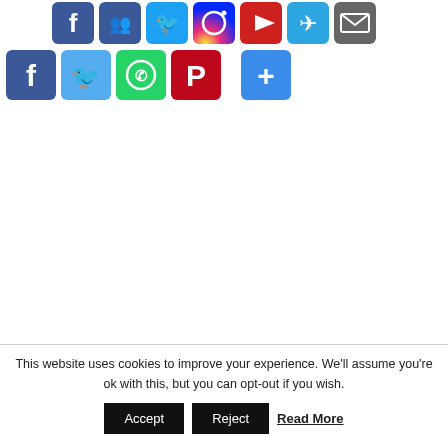[Figure (screenshot): Row of social media icon buttons at top: Facebook, Groups/MySpace, Twitter, Instagram, YouTube, Telegram, Email]
[Figure (screenshot): Row of share buttons: Facebook (blue), Twitter (light blue), WhatsApp (green), Pinterest (red), Share/Plus (blue)]
This website uses cookies to improve your experience. We'll assume you're ok with this, but you can opt-out if you wish.
Accept  Reject  Read More